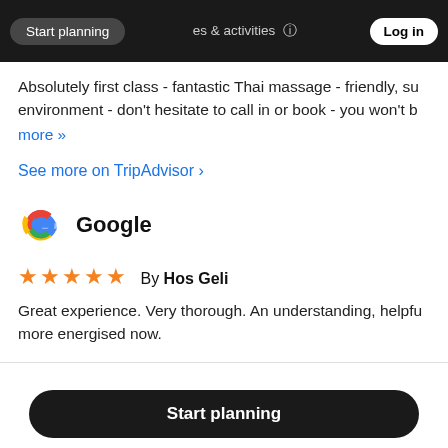Start planning | places & activities | Log in
Absolutely first class - fantastic Thai massage - friendly, su environment - don't hesitate to call in or book - you won't b
more »
See more on TripAdvisor ›
[Figure (logo): Google logo with coloured G icon and Google wordmark]
★★★★★  By Hos Geli
Great experience. Very thorough. An understanding, helpfu more energised now.
Start planning